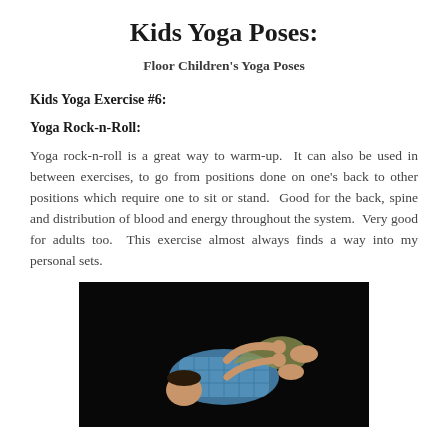Kids Yoga Poses:
Floor Children's Yoga Poses
Kids Yoga Exercise #6:
Yoga Rock-n-Roll:
Yoga rock-n-roll is a great way to warm-up.  It can also be used in between exercises, to go from positions done on one's back to other positions which require one to sit or stand.  Good for the back, spine and distribution of blood and energy throughout the system.  Very good for adults too.  This exercise almost always finds a way into my personal sets.
[Figure (photo): Child lying on back on dark background, hugging knees to chest in rock-n-roll yoga pose, wearing blue checkered shirt]